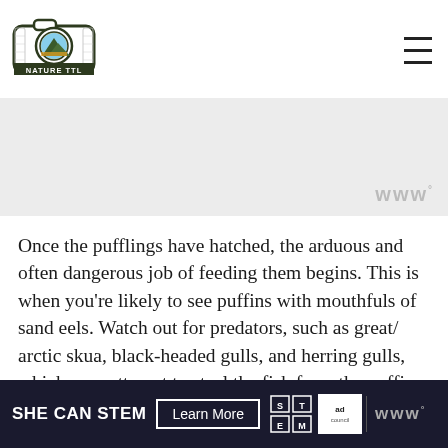[Figure (logo): Nature TTL logo — camera shape with mountain landscape inside, text 'NATURE TTL' below]
[Figure (other): Advertisement banner placeholder (light gray background) with watermark-style 'www°' symbol at bottom right]
Once the pufflings have hatched, the arduous and often dangerous job of feeding them begins. This is when you're likely to see puffins with mouthfuls of sand eels. Watch out for predators, such as great/ arctic skua, black-headed gulls, and herring gulls, which may attempt to steal the fish from the puffins.
[Figure (infographic): Bottom advertisement bar: dark navy background. 'SHE CAN STEM' in bold white text, 'Learn More' button with white border, STEM grid logo, Ad Council logo, and 'www°' watermark on right]